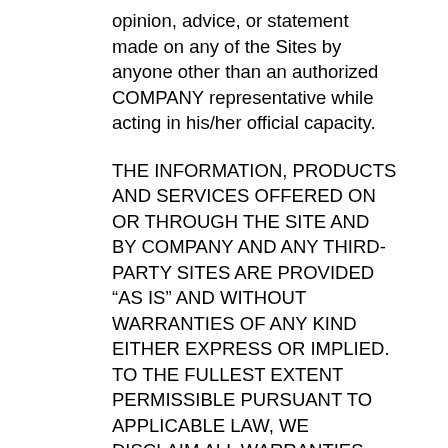opinion, advice, or statement made on any of the Sites by anyone other than an authorized COMPANY representative while acting in his/her official capacity.
THE INFORMATION, PRODUCTS AND SERVICES OFFERED ON OR THROUGH THE SITE AND BY COMPANY AND ANY THIRD-PARTY SITES ARE PROVIDED “AS IS” AND WITHOUT WARRANTIES OF ANY KIND EITHER EXPRESS OR IMPLIED. TO THE FULLEST EXTENT PERMISSIBLE PURSUANT TO APPLICABLE LAW, WE DISCLAIM ALL WARRANTIES, EXPRESS OR IMPLIED, INCLUDING, BUT NOT LIMITED TO, IMPLIED WARRANTIES OF MERCHANTABILITY AND FITNESS FOR A PARTICULAR PURPOSE. WE DO NOT WARRANT THAT THE SITE OR ANY OF